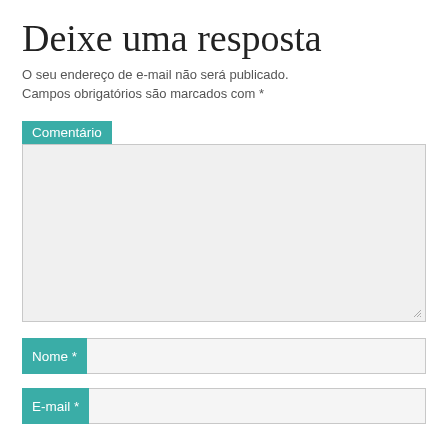Deixe uma resposta
O seu endereço de e-mail não será publicado. Campos obrigatórios são marcados com *
Comentário
[Figure (other): Large text area input field with light grey background and resize handle]
Nome *
[Figure (other): Single line text input field for Nome]
E-mail *